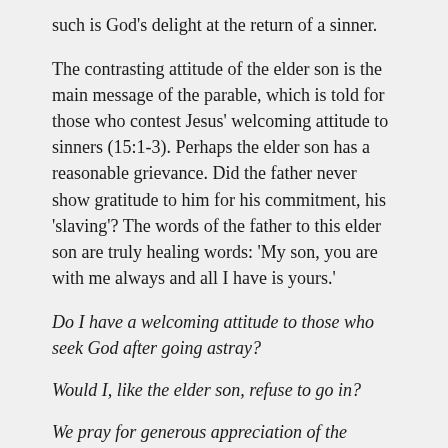such is God's delight at the return of a sinner.
The contrasting attitude of the elder son is the main message of the parable, which is told for those who contest Jesus' welcoming attitude to sinners (15:1-3). Perhaps the elder son has a reasonable grievance. Did the father never show gratitude to him for his commitment, his 'slaving'? The words of the father to this elder son are truly healing words: 'My son, you are with me always and all I have is yours.'
Do I have a welcoming attitude to those who seek God after going astray?
Would I, like the elder son, refuse to go in?
We pray for generous appreciation of the commitment of others.
We pray that we may have the humility to change our ways.